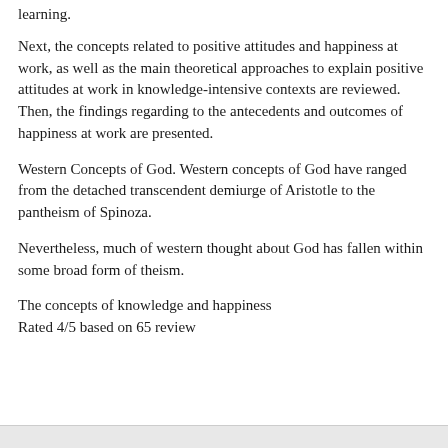learning.
Next, the concepts related to positive attitudes and happiness at work, as well as the main theoretical approaches to explain positive attitudes at work in knowledge-intensive contexts are reviewed. Then, the findings regarding to the antecedents and outcomes of happiness at work are presented.
Western Concepts of God. Western concepts of God have ranged from the detached transcendent demiurge of Aristotle to the pantheism of Spinoza.
Nevertheless, much of western thought about God has fallen within some broad form of theism.
The concepts of knowledge and happiness
Rated 4/5 based on 65 review